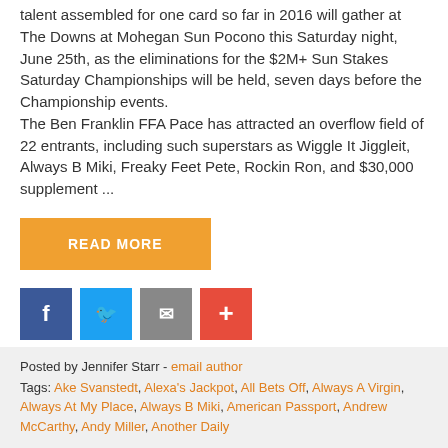...what will be the greatest collection of harness racing talent assembled for one card so far in 2016 will gather at The Downs at Mohegan Sun Pocono this Saturday night, June 25th, as the eliminations for the $2M+ Sun Stakes Saturday Championships will be held, seven days before the Championship events.
The Ben Franklin FFA Pace has attracted an overflow field of 22 entrants, including such superstars as Wiggle It Jiggleit, Always B Miki, Freaky Feet Pete, Rockin Ron, and $30,000 supplement ...
READ MORE
[Figure (infographic): Social sharing icons: Facebook (blue), Twitter (light blue), Email (grey), Plus/More (red)]
Posted by Jennifer Starr - email author
Tags: Ake Svanstedt, Alexa's Jackpot, All Bets Off, Always A Virgin, Always At My Place, Always B Miki, American Passport, Andrew McCarthy, Andy Miller, Another Daily